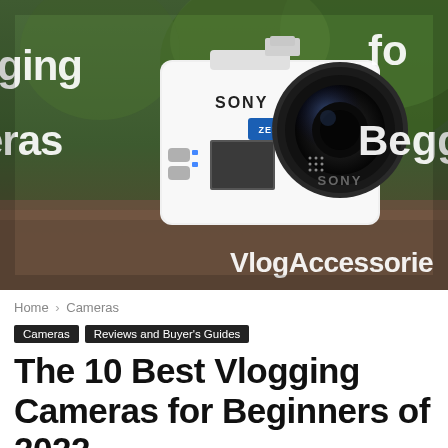[Figure (photo): Hero banner image showing a white Sony action camera with Zeiss lens sitting on a surface outdoors with green foliage in background. Text overlays visible: 'for', 'Beggi', 'rging', 'eras', 'VlogAccessorie' in white bold text.]
Home › Cameras
Cameras  Reviews and Buyer's Guides
The 10 Best Vlogging Cameras for Beginners of 2022
By Eva Smith - April 18, 2021  👁 9457